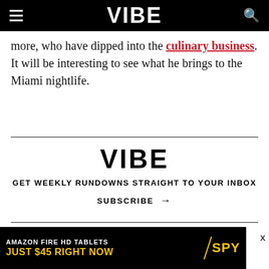VIBE
more, who have dipped into the culinary business. It will be interesting to see what he brings to the Miami nightlife.
[Figure (logo): VIBE logo in large bold black text, newsletter signup block with tagline GET WEEKLY RUNDOWNS STRAIGHT TO YOUR INBOX and SUBSCRIBE arrow button]
READ MORE ABOUT
PHARRELL WILLIAMS
[Figure (infographic): Amazon Fire HD Tablets advertisement banner: AMAZON FIRE HD TABLETS JUST $45 RIGHT NOW with SPY logo on yellow background]